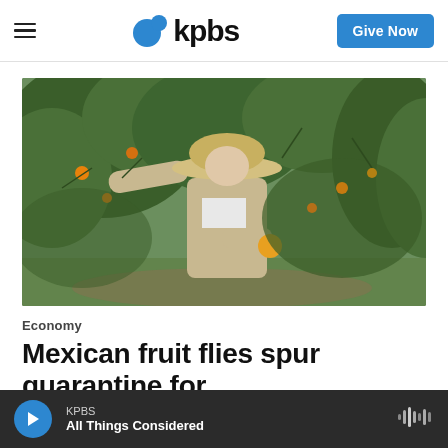kpbs | Give Now
[Figure (photo): A man wearing a wide-brim hat and light tan long-sleeve shirt stands in a citrus orchard, reaching out to touch fruit on a tree branch with one hand while holding an orange/yellow citrus fruit in his other hand. The background shows lush green citrus trees.]
Economy
Mexican fruit flies spur quarantine for
KPBS | All Things Considered